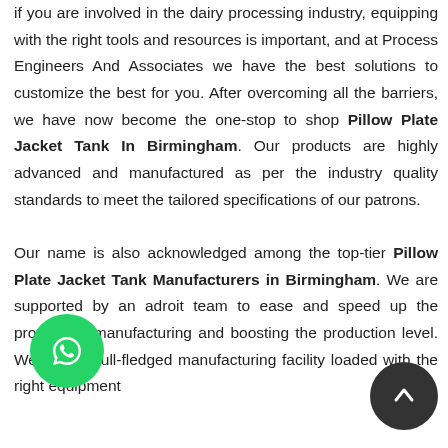if you are involved in the dairy processing industry, equipping with the right tools and resources is important, and at Process Engineers And Associates we have the best solutions to customize the best for you. After overcoming all the barriers, we have now become the one-stop to shop Pillow Plate Jacket Tank In Birmingham. Our products are highly advanced and manufactured as per the industry quality standards to meet the tailored specifications of our patrons.
Our name is also acknowledged among the top-tier Pillow Plate Jacket Tank Manufacturers in Birmingham. We are supported by an adroit team to ease and speed up the process of manufacturing and boosting the production level. We have a full-fledged manufacturing facility loaded with the right equipment
[Figure (other): WhatsApp contact button (green circle with phone handset icon)]
[Figure (other): Scroll-to-top button (dark grey circle with upward chevron arrow)]